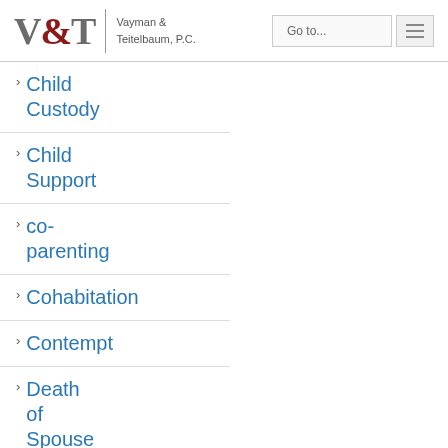V&T Vayman & Teitelbaum, P.C. | Go to...
Child Custody
Child Support
co-parenting
Cohabitation
Contempt
Death of Spouse
Division of